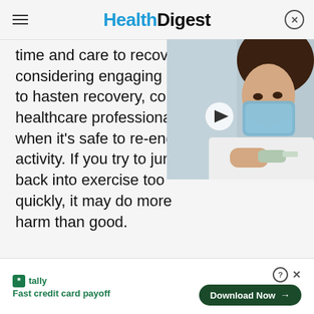Health Digest
time and care to recov... considering engaging i... to hasten recovery, con... healthcare professiona... when it's safe to re-eng... activity. If you try to jump back into exercise too quickly, it may do more harm than good.
[Figure (photo): Video thumbnail showing a woman wearing a blue face mask receiving an injection/vaccination in her arm from a healthcare professional wearing gloves.]
[Figure (screenshot): Advertisement banner for Tally app with tagline 'Fast credit card payoff' and a 'Download Now' button.]